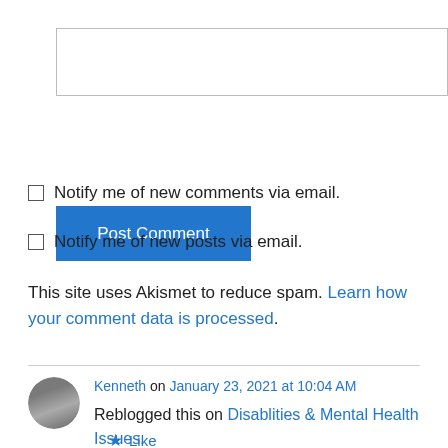[Figure (other): Text input textarea box (empty)]
[Figure (other): Post Comment button (blue)]
Notify me of new comments via email.
Notify me of new posts via email.
This site uses Akismet to reduce spam. Learn how your comment data is processed.
Kenneth on January 23, 2021 at 10:04 AM
Reblogged this on Disablities & Mental Health Issues.
Like